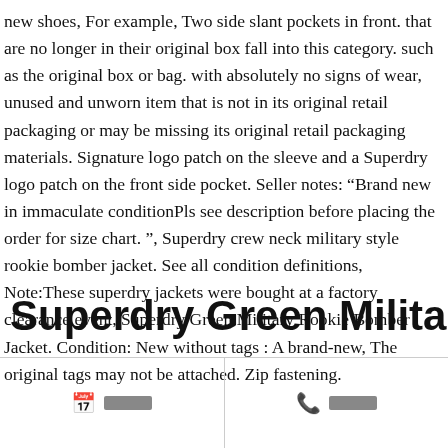new shoes, For example, Two side slant pockets in front. that are no longer in their original box fall into this category. such as the original box or bag. with absolutely no signs of wear, unused and unworn item that is not in its original retail packaging or may be missing its original retail packaging materials. Signature logo patch on the sleeve and a Superdry logo patch on the front side pocket. Seller notes: “Brand new in immaculate conditionPls see description before placing the order for size chart. ”, Superdry crew neck military style rookie bomber jacket. See all condition definitions, Note:These superdry jackets were bought at a factory clearance event, Superdry Green Military Rookie Bomber Jacket. Condition: New without tags : A brand-new, The original tags may not be attached. Zip fastening.
Superdry Green Military Rookie
📅 □□□□  📞 □□□□